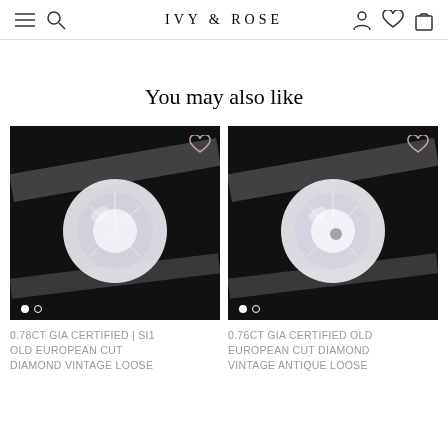IVY & ROSE
You may also like
[Figure (photo): Close-up photo of a round old European cut diamond held by tweezers on a black background. White/near-colorless sparkle.]
[Figure (photo): Close-up photo of a round old European cut diamond held by tweezers on a black background. White/near-colorless sparkle.]
0.78ct GIA CERTIFIED | SI1 OLD EUROPEAN CUT DIAMOND VINTAGE LOOSE
0.76ct GIA CERTIFIED OLD EUROPEAN CUT DIAMOND VINTAGE ANTIQUE LOOSE